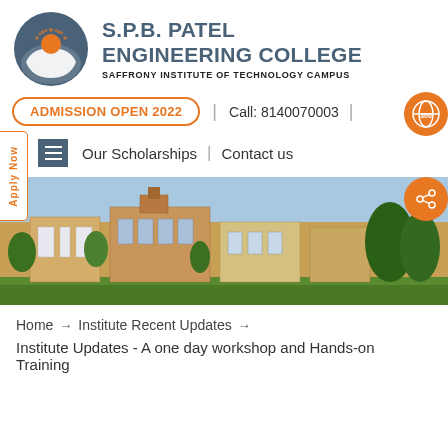[Figure (logo): S.P.B. Patel Engineering College logo: circular icon with orange sun/hand motif in dark teal circle]
S.P.B. PATEL ENGINEERING COLLEGE
SAFFRONY INSTITUTE OF TECHNOLOGY CAMPUS
ADMISSION OPEN 2022  |  Call: 8140070003
Our Scholarships  |  Contact us
[Figure (photo): Campus building exterior photo — warm-toned building with greenery and blue sky]
Home  →  Institute Recent Updates  →
Institute Updates - A one day workshop and Hands-on Training